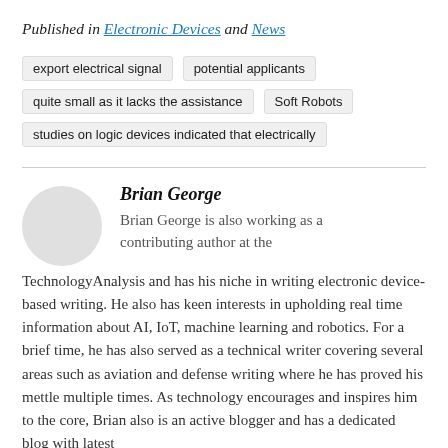Published in Electronic Devices and News
export electrical signal
potential applicants
quite small as it lacks the assistance
Soft Robots
studies on logic devices indicated that electrically
Brian George
Brian George is also working as a contributing author at the TechnologyAnalysis and has his niche in writing electronic device-based writing. He also has keen interests in upholding real time information about AI, IoT, machine learning and robotics. For a brief time, he has also served as a technical writer covering several areas such as aviation and defense writing where he has proved his mettle multiple times. As technology encourages and inspires him to the core, Brian also is an active blogger and has a dedicated blog with latest